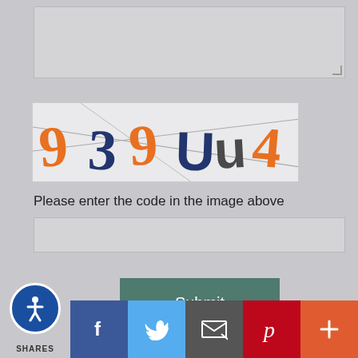[Figure (other): CAPTCHA image showing distorted text '939Uu4' in orange and dark blue/gray colors with diagonal lines across the image]
Please enter the code in the image above
[Figure (other): Empty text input field for CAPTCHA code entry]
[Figure (other): Submit button, teal/dark green color]
[Figure (logo): Equal Housing Lender logo — house outline with equals sign inside, text 'EQUAL HOUSING' and 'LENDER' below]
Copyright © Evans Mortgage Co., Etrafficers, Inc and its
SHARES [social share bar: Facebook, Twitter, Email, Pinterest, More]